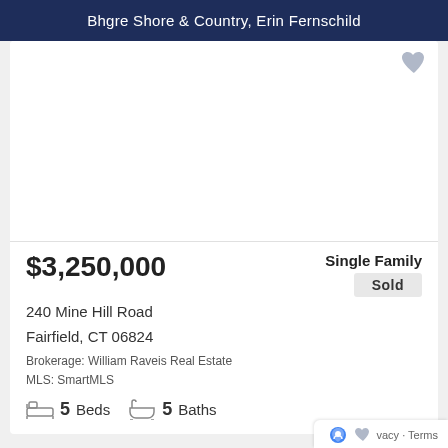Bhgre Shore & Country, Erin Fernschild
[Figure (photo): Property listing photo area (blank/white) with a heart/favorite icon in the top right corner]
$3,250,000
Single Family
Sold
240 Mine Hill Road
Fairfield, CT 06824
Brokerage: William Raveis Real Estate
MLS: SmartMLS
5 Beds  5 Baths